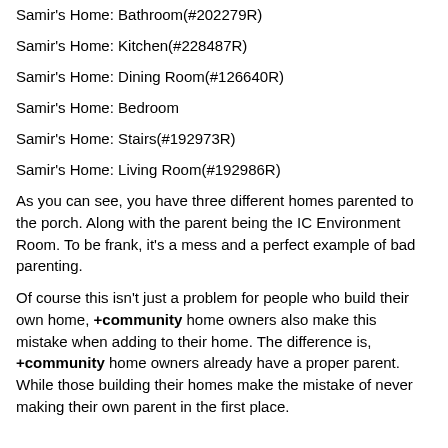Samir's Home: Bathroom(#202279R)
Samir's Home: Kitchen(#228487R)
Samir's Home: Dining Room(#126640R)
Samir's Home: Bedroom
Samir's Home: Stairs(#192973R)
Samir's Home: Living Room(#192986R)
As you can see, you have three different homes parented to the porch. Along with the parent being the IC Environment Room. To be frank, it's a mess and a perfect example of bad parenting.
Of course this isn't just a problem for people who build their own home, +community home owners also make this mistake when adding to their home. The difference is, +community home owners already have a proper parent. While those building their homes make the mistake of never making their own parent in the first place.